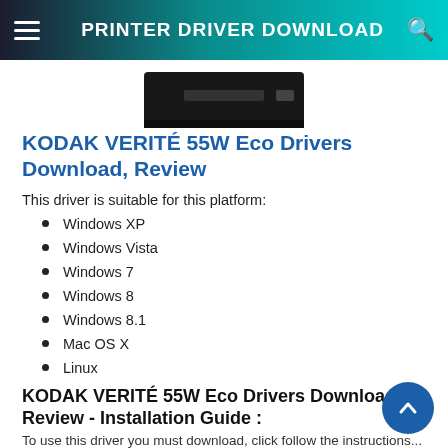PRINTER DRIVER DOWNLOAD
[Figure (photo): Partial view of a Kodak Verité 55W Eco printer, black, showing the top portion with paper slot and buttons]
KODAK VERITÉ 55W Eco Drivers Download, Review
This driver is suitable for this platform:
Windows XP
Windows Vista
Windows 7
Windows 8
Windows 8.1
Mac OS X
Linux
KODAK VERITÉ 55W Eco Drivers Download Review - Installation Guide :
To use this driver you must download, click follow the instructions...